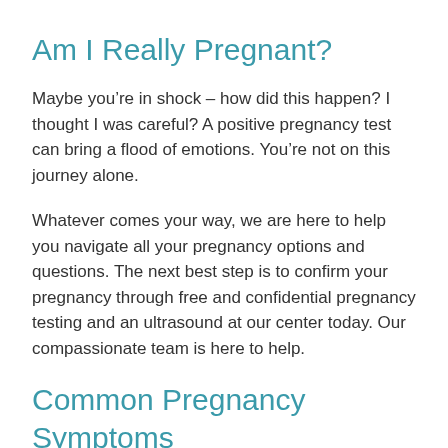Am I Really Pregnant?
Maybe you’re in shock – how did this happen? I thought I was careful? A positive pregnancy test can bring a flood of emotions. You’re not on this journey alone.
Whatever comes your way, we are here to help you navigate all your pregnancy options and questions. The next best step is to confirm your pregnancy through free and confidential pregnancy testing and an ultrasound at our center today. Our compassionate team is here to help.
Common Pregnancy Symptoms